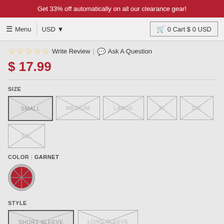Get 33% off automatically on all our clearance gear!
Menu | USD | 0 Cart $ 0 USD
Write Review | Ask A Question
$ 17.99
SIZE
SMALL MEDIUM LARGE XL 2XL 3XL
COLOR | GARNET
[Figure (other): Garnet color swatch circle with X cross pattern]
STYLE
SHORT SLEEVE | LONG SLEEVE